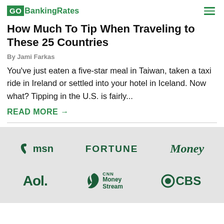GOBankingRates
How Much To Tip When Traveling to These 25 Countries
By Jami Farkas
You've just eaten a five-star meal in Taiwan, taken a taxi ride in Ireland or settled into your hotel in Iceland. Now what? Tipping in the U.S. is fairly...
READ MORE →
[Figure (logo): Media logos: msn, FORTUNE, Money, Aol., CNN Money Stream, CBS]